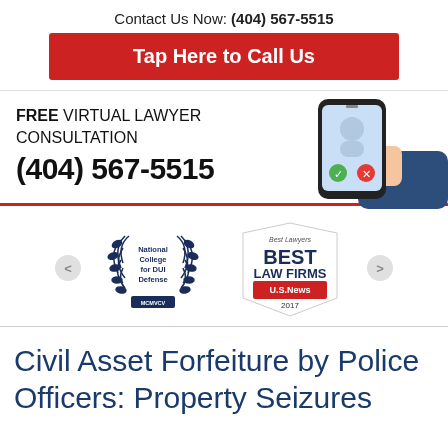Contact Us Now: (404) 567-5515
Tap Here to Call Us
FREE VIRTUAL LAWYER CONSULTATION
(404) 567-5515
[Figure (illustration): Hand holding a smartphone with call accept/decline buttons]
[Figure (logo): National College for DUI Defense wreath logo with MCMVCV text]
[Figure (logo): Best Lawyers Best Law Firms US News 2017 badge]
Civil Asset Forfeiture by Police Officers: Property Seizures